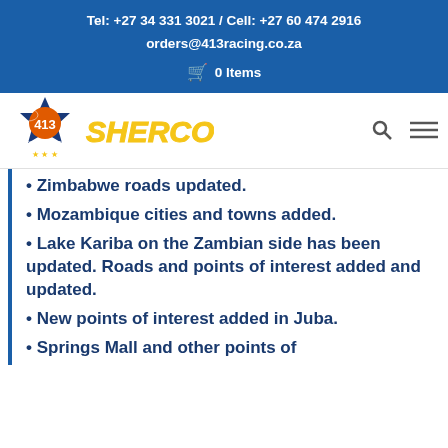Tel: +27 34 331 3021 / Cell: +27 60 474 2916
orders@413racing.co.za
🛒 0 Items
[Figure (logo): 413 Racing Motorcycle Store logo with Sherco branding]
Zimbabwe roads updated.
Mozambique cities and towns added.
Lake Kariba on the Zambian side has been updated. Roads and points of interest added and updated.
New points of interest added in Juba.
Springs Mall and other points of